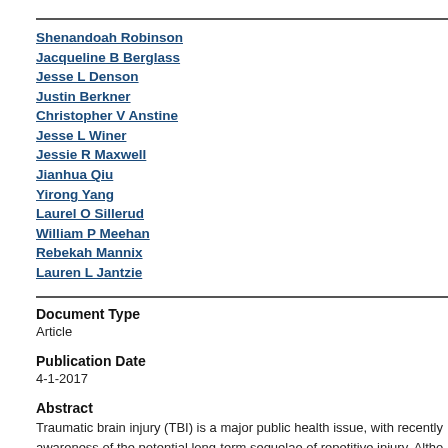Shenandoah Robinson
Jacqueline B Berglass
Jesse L Denson
Justin Berkner
Christopher V Anstine
Jesse L Winer
Jessie R Maxwell
Jianhua Qiu
Yirong Yang
Laurel O Sillerud
William P Meehan
Rebekah Mannix
Lauren L Jantzie
Document Type
Article
Publication Date
4-1-2017
Abstract
Traumatic brain injury (TBI) is a major public health issue, with recently awareness of the potential long-term sequelae of repetitive injury. Altho common, objective diagnostic tools with sound neurobiological predict